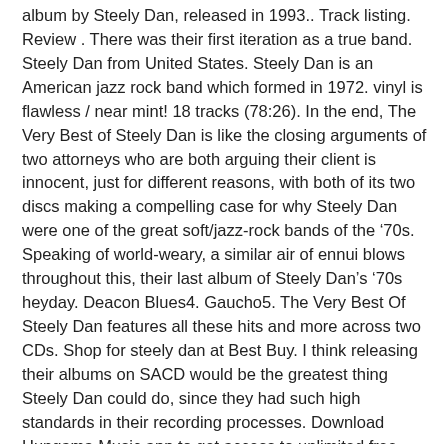album by Steely Dan, released in 1993.. Track listing. Review . There was their first iteration as a true band. Steely Dan from United States. Steely Dan is an American jazz rock band which formed in 1972. vinyl is flawless / near mint! 18 tracks (78:26). In the end, The Very Best of Steely Dan is like the closing arguments of two attorneys who are both arguing their client is innocent, just for different reasons, with both of its two discs making a compelling case for why Steely Dan were one of the great soft/jazz-rock bands of the ‘70s. Speaking of world-weary, a similar air of ennui blows throughout this, their last album of Steely Dan’s ‘70s heyday. Deacon Blues4. Gaucho5. The Very Best Of Steely Dan features all these hits and more across two CDs. Shop for steely dan at Best Buy. I think releasing their albums on SACD would be the greatest thing Steely Dan could do, since they had such high standards in their recording processes. Download Hungama Music app to get access to unlimited free songs, free movies, latest music videos, online radio, new TV shows and ... Glamour Profession4. Top Lyrics of 2011. Bad Sneakers3. The "Greatest Hits" (tape) is first. Check it out at www.playlistbuddy.com Music, Film, TV and Political News